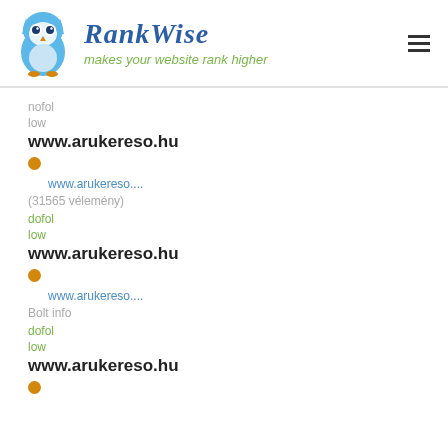RankWise - makes your website rank higher
nofol
low
www.arukereso.hu
www.arukereso....
(31565 vélemény)
dofol
low
www.arukereso.hu
www.arukereso....
Bolt info
dofol
low
www.arukereso.hu